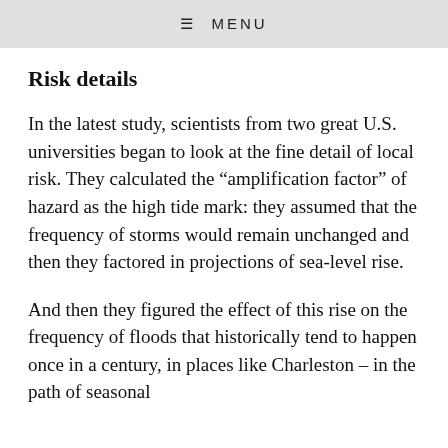≡ MENU
Risk details
In the latest study, scientists from two great U.S. universities began to look at the fine detail of local risk. They calculated the “amplification factor” of hazard as the high tide mark: they assumed that the frequency of storms would remain unchanged and then they factored in projections of sea-level rise.
And then they figured the effect of this rise on the frequency of floods that historically tend to happen once in a century, in places like Charleston – in the path of seasonal